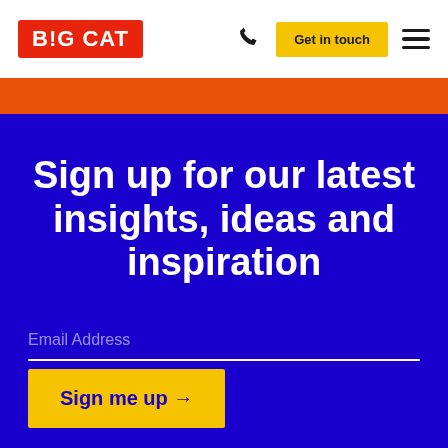B!G CAT | Get in touch
Sign up for our latest insights, ideas and inspiration
Email Address
Sign me up →